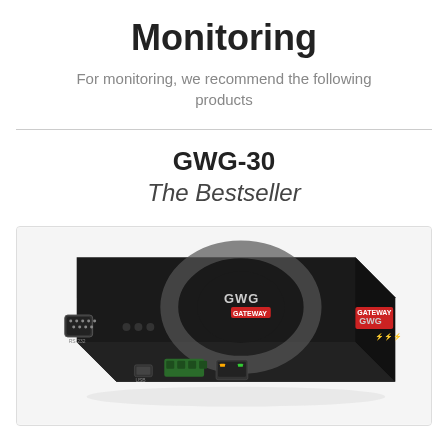Monitoring
For monitoring, we recommend the following products
GWG-30
The Bestseller
[Figure (photo): GWG Gateway device (GWG-30) — a black industrial gateway box with circular GWG GATEWAY logo on top, RS-232 port, USB port, green terminal block connectors, Ethernet port, and indicator LEDs, photographed in perspective view.]